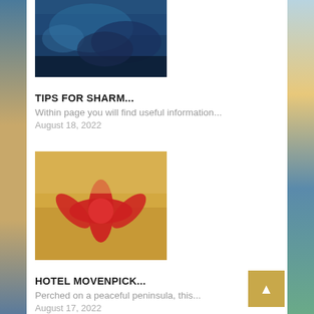[Figure (photo): Underwater scene with dark blue ocean water]
TIPS FOR SHARM...
Within page you will find useful information...
August 18, 2022
[Figure (photo): Red starfish on sandy beach]
HOTEL MOVENPICK...
Perched on a peaceful peninsula, this...
August 17, 2022
[Figure (photo): Night sky or dusk scene]